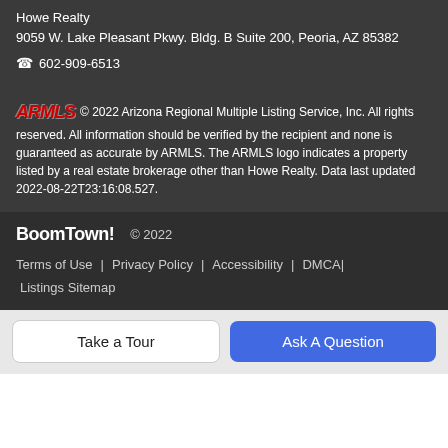Howe Realty
9059 W. Lake Pleasant Pkwy. Bldg. B Suite 200, Peoria, AZ 85382
☎ 602-909-6513
© 2022 Arizona Regional Multiple Listing Service, Inc. All rights reserved. All information should be verified by the recipient and none is guaranteed as accurate by ARMLS. The ARMLS logo indicates a property listed by a real estate brokerage other than Howe Realty. Data last updated 2022-08-22T23:16:08.527.
BoomTown! © 2022
Terms of Use | Privacy Policy | Accessibility | DMCA | Listings Sitemap
Take a Tour
Ask A Question